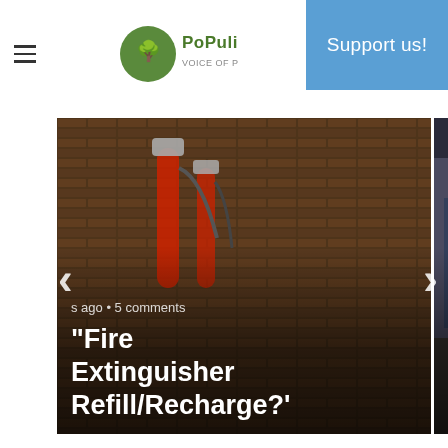PoPulisc — Support us!
[Figure (screenshot): Website header with hamburger menu icon on left, PoPulisc logo in center, and a blue 'Support us!' button on the right]
[Figure (photo): Carousel card 1: Photo of fire extinguishers against brick wall. Overlay text: 's ago • 5 comments' and '"Fire Extinguisher Refill/Recharge?'']
[Figure (photo): Carousel card 2: Photo of a group of people in sports jerseys standing outside a bar/shop. Overlay text: '2 days ago • 11 comments' and '"Premier League Bars?"']